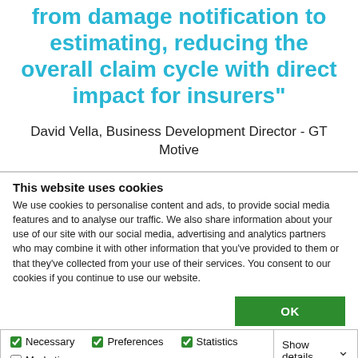that can streamline the process from damage notification to estimating, reducing the overall claim cycle with direct impact for insurers"
David Vella, Business Development Director - GT Motive
This website uses cookies
We use cookies to personalise content and ads, to provide social media features and to analyse our traffic. We also share information about your use of our site with our social media, advertising and analytics partners who may combine it with other information that you've provided to them or that they've collected from your use of their services. You consent to our cookies if you continue to use our website.